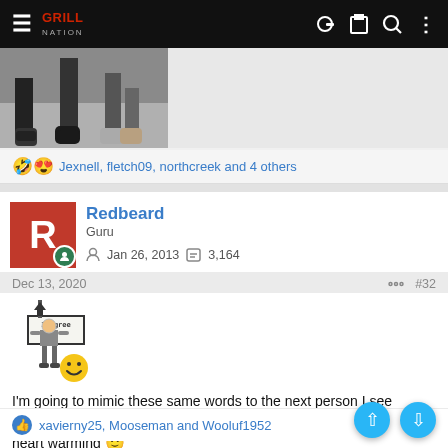≡ [GrillNation logo] [key icon] [clipboard icon] [search icon] [more icon]
[Figure (photo): Partial photo showing people's feet and lower legs standing on a floor]
🤣😍 Jexnell, fletch09, northcreek and 4 others
Redbeard
Guru
Jan 26, 2013  3,164
Dec 13, 2020  #32
[Figure (illustration): Pixel-art style image of a figure holding a sign that says 'I Agree' with a smiley face emoji]
I'm going to mimic these same words to the next person I see walking with their pants not pulled up. This young lads words are heart warming 🙂
👍 xavierny25, Mooseman and Wooluf1952